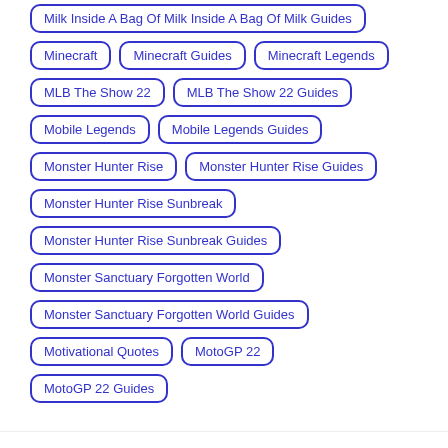Milk Inside A Bag Of Milk Inside A Bag Of Milk Guides
Minecraft
Minecraft Guides
Minecraft Legends
MLB The Show 22
MLB The Show 22 Guides
Mobile Legends
Mobile Legends Guides
Monster Hunter Rise
Monster Hunter Rise Guides
Monster Hunter Rise Sunbreak
Monster Hunter Rise Sunbreak Guides
Monster Sanctuary Forgotten World
Monster Sanctuary Forgotten World Guides
Motivational Quotes
MotoGP 22
MotoGP 22 Guides
Our website uses cookies to enhance your experience.
Learn More
Accept !